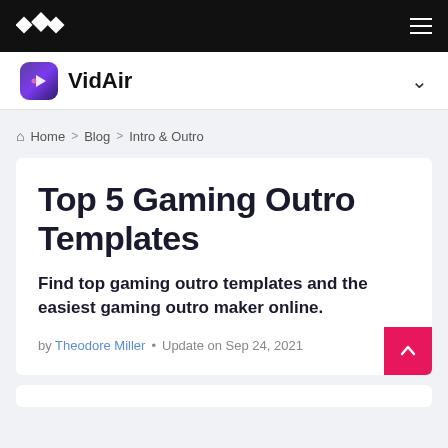W (logo) | hamburger menu
VidAir (product nav with chevron)
Home > Blog > Intro & Outro
Top 5 Gaming Outro Templates
Find top gaming outro templates and the easiest gaming outro maker online.
by Theodore Miller • Update on Sep 24, 2021